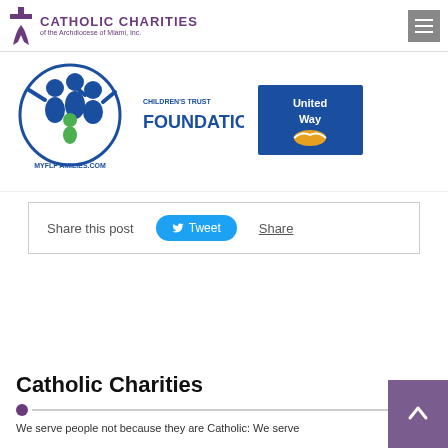Catholic Charities of the Archdiocese of Miami, Inc.
[Figure (logo): Catholic Charities of the Archdiocese of Miami, Inc. logo with cross icon and purple text]
[Figure (logo): Florida Department of Children and Families logo with MyFLFamilies.com text]
[Figure (logo): Foundation logo with text FOUNDATION]
[Figure (logo): United Way logo on blue background]
Share this post
Tweet
Share
Catholic Charities
We serve people not because they are Catholic: We serve